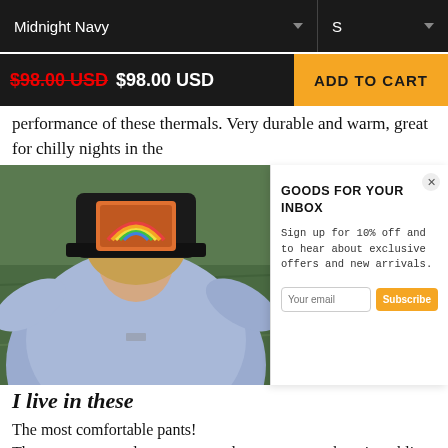Midnight Navy  S
$98.00 USD $98.00 USD  ADD TO CART
performance of these thermals. Very durable and warm, great for chilly nights in the back...
[Figure (photo): Person lying on grass wearing a black hat with colorful patch and a blue long-sleeve shirt, viewed from above]
GOODS FOR YOUR INBOX
Sign up for 10% off and to hear about exclusive offers and new arrivals.
I live in these
The most comfortable pants!
They are my go to lounge pant and you can wear them in public without the normies judgement. PJs to the bank, thank you!
They are fashionable and functional, I say the...